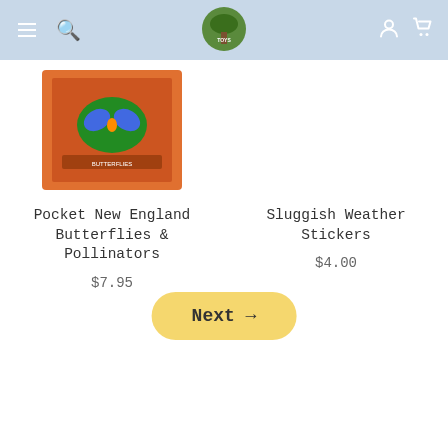Treehouse Toys navigation header
[Figure (photo): Product image: orange book cover with butterfly illustration for Pocket New England Butterflies & Pollinators]
Pocket New England Butterflies & Pollinators
$7.95
Sluggish Weather Stickers
$4.00
Next →